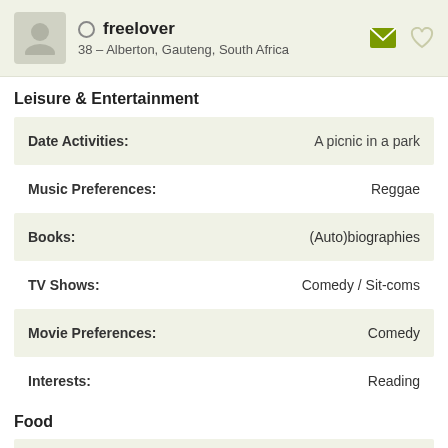freelover — 38 – Alberton, Gauteng, South Africa
Leisure & Entertainment
| Field | Value |
| --- | --- |
| Date Activities: | A picnic in a park |
| Music Preferences: | Reggae |
| Books: | (Auto)biographies |
| TV Shows: | Comedy / Sit-coms |
| Movie Preferences: | Comedy |
| Interests: | Reading |
Food